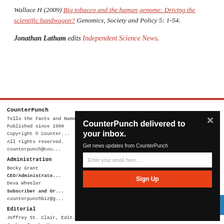Wallace H (2009) Big tobacco and the human genome: Driving the scientific bandwagon? Genomics, Society and Policy 5: 1-54.
Jonathan Latham edits Independent Science News.
CounterPunch
Tells the Facts and Names the Names
Published since 1990
Copyright © Counter...
All rights reserved.
counterpunch@cou...
Administration
Becky Grant
CEO/Administrator
Deva Wheeler
Subscriber and Or...
counterpunchbiz@g...
Editorial
Jeffrey St. Clair, Edit...
Joshua Frank, Mana...
[Figure (other): Modal popup: 'CounterPunch delivered to your inbox.' with email signup field and Sign Up button on dark background.]